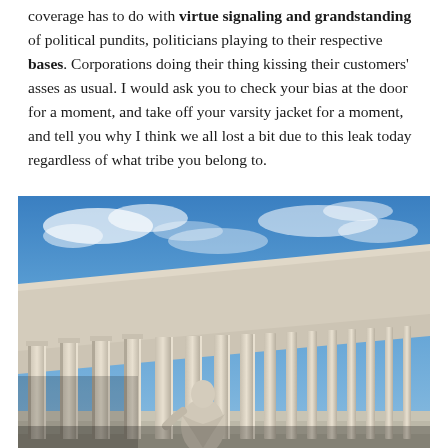coverage has to do with virtue signaling and grandstanding of political pundits, politicians playing to their respective bases. Corporations doing their thing kissing their customers' asses as usual. I would ask you to check your bias at the door for a moment, and take off your varsity jacket for a moment, and tell you why I think we all lost a bit due to this leak today regardless of what tribe you belong to.
[Figure (photo): Low-angle photograph of the United States Supreme Court building, showing its neoclassical columns and pediment against a blue sky with clouds, with a marble statue visible in the foreground.]